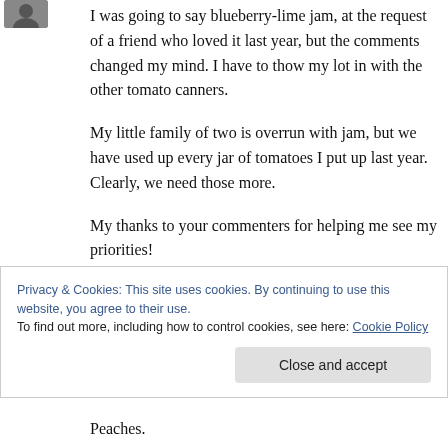[Figure (photo): Small avatar/profile image in top left corner]
I was going to say blueberry-lime jam, at the request of a friend who loved it last year, but the comments changed my mind. I have to thow my lot in with the other tomato canners.
My little family of two is overrun with jam, but we have used up every jar of tomatoes I put up last year. Clearly, we need those more.
My thanks to your commenters for helping me see my priorities!
Privacy & Cookies: This site uses cookies. By continuing to use this website, you agree to their use.
To find out more, including how to control cookies, see here: Cookie Policy
Close and accept
Peaches.